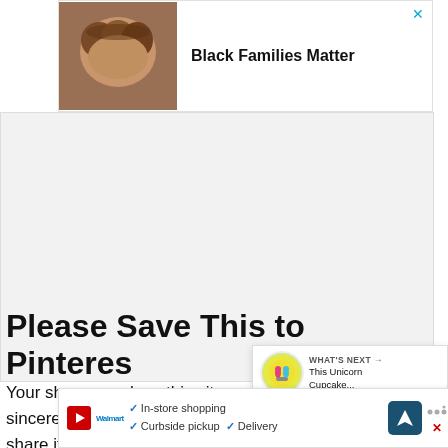[Figure (photo): Advertisement banner with photo of Black family smiling, text 'Black Families Matter' and close button X]
[Figure (photo): Large empty gray area placeholder for an image or advertisement]
Please Save This to Pinterest
Your shares are how this site grows and I am sincerely grateful. Know a friend who would like this? Please share it on Facebook or
[Figure (infographic): WHAT'S NEXT popup with cupcake image and text 'This Unicorn Cupcake...']
[Figure (infographic): Bottom advertisement banner: In-store shopping, Curbside pickup, Delivery with navigation icon and Walmart logo]
In-store shopping  Curbside pickup  Delivery